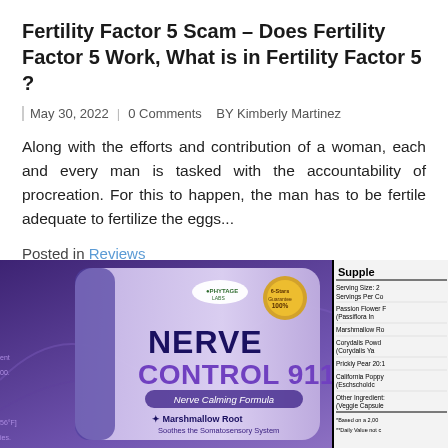Fertility Factor 5 Scam – Does Fertility Factor 5 Work, What is in Fertility Factor 5 ?
May 30, 2022   |   0 Comments   BY Kimberly Martinez
Along with the efforts and contribution of a woman, each and every man is tasked with the accountability of procreation. For this to happen, the man has to be fertile adequate to fertilize the eggs...
Posted in Reviews
[Figure (photo): Product image of Nerve Control 911 by Phytage Labs showing the supplement box with 'Nerve Calming Formula', featuring Marshmallow Root that 'Soothes the Somatosensory System', with icons for Anti-Anxiety, Anti-Inflammatory, Anti-Bacterial properties. Partial Supplement Facts panel visible on right side.]